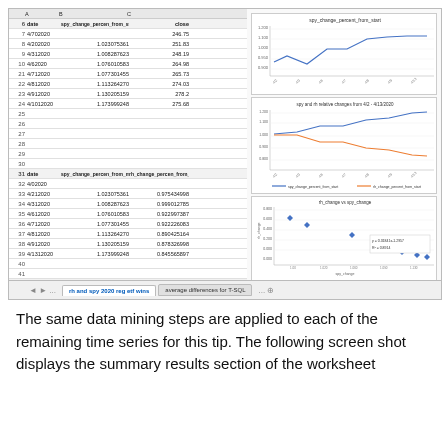[Figure (screenshot): Excel/spreadsheet screenshot showing three sections of data columns (date, spy_change_percent_from_start, close / th_change_percent_from_start / rpu_change:rh_change with average difference 0.154406771), along with three embedded charts: a line chart for spy_change_percent_from_start, a dual-line chart for spy and rh relative changes, and a scatter plot for rh_change vs spy_change. Sheet tabs at bottom show 'rh and spy 2020 reg etf wins' active and 'average differences for T-SQL'.]
The same data mining steps are applied to each of the remaining time series for this tip.  The following screen shot displays the summary results section of the worksheet